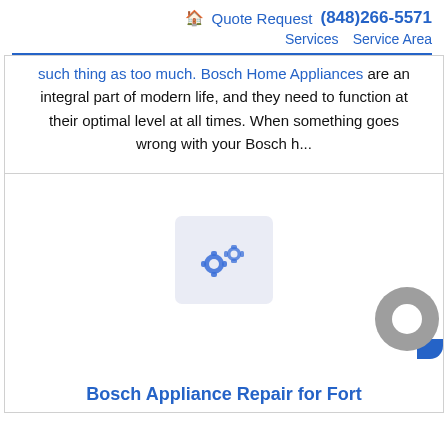🏠 Quote Request (848)266-5571 Services Service Area
such thing as too much. Bosch Home Appliances are an integral part of modern life, and they need to function at their optimal level at all times. When something goes wrong with your Bosch h...
[Figure (illustration): Placeholder image with gear/settings icons on a light blue-grey background]
Bosch Appliance Repair for Fort